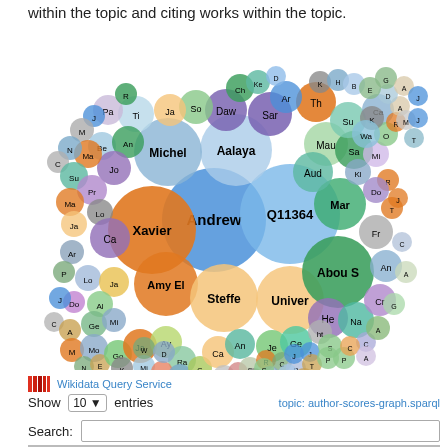within the topic and citing works within the topic.
[Figure (bubble-chart): A bubble/packed-circle chart showing authors (labeled with abbreviated names) as colored circles of varying sizes. Prominent labels include Andrew, Q11364, Xavier, Aalaya, Michel, Amy El, Steffe, Univer, Abou S, and many smaller labeled circles arranged in a circular cluster. Colors include blue, orange, green, purple, teal, and grey.]
Wikidata Query Service
Show 10 entries   topic: author-scores-graph.sparql
Search:
Score ♦   Author ♦   Example work: